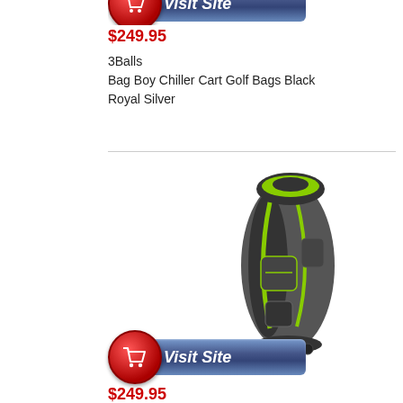[Figure (other): Partial 'Visit Site' button with red shopping cart circle and blue label, cropped at top of page]
$249.95
3Balls
Bag Boy Chiller Cart Golf Bags Black Royal Silver
[Figure (photo): Gray and green Bag Boy Chiller Cart golf bag]
[Figure (other): 'Visit Site' button with red shopping cart circle and blue label reading 'Visit Site']
$249.95